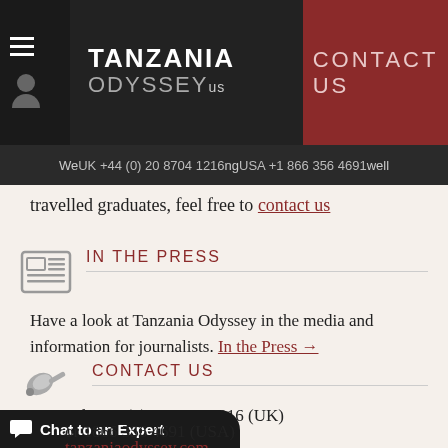TANZANIA ODYSSEY | CONTACT US
UK +44 (0) 20 8704 1216   USA +1 866 356 4691
We... ng... well travelled graduates, feel free to contact us
IN THE PRESS
Have a look at Tanzania Odyssey in the media and information for journalists. In the Press →
CONTACT US
Tel: +44 (0) 20 8704 1216 (UK)
or 1866 356 4691 (USA)
tanzaniaodyssey.com